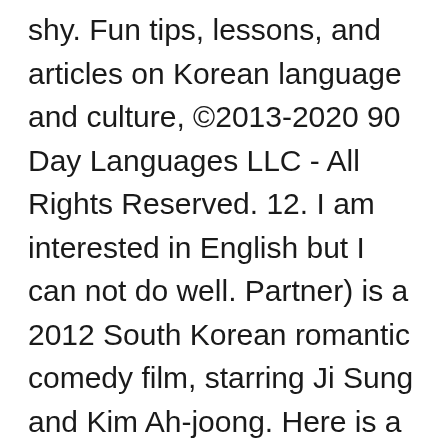shy. Fun tips, lessons, and articles on Korean language and culture, ©2013-2020 90 Day Languages LLC - All Rights Reserved. 12. I am interested in English but I can not do well. Partner) is a 2012 South Korean romantic comedy film, starring Ji Sung and Kim Ah-joong. Here is a list of affectionate words you can use with your significant other. Website. Try our online tool today and find a casual sex partner! Most of the actors did a good job. Did you know people